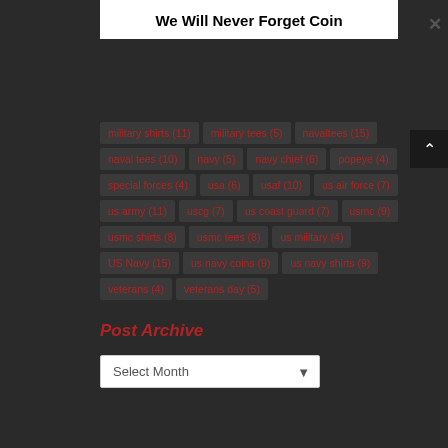We Will Never Forget Coin
military shirts (11)
military tees (5)
navaltees (15)
naval tees (10)
navy (5)
navy chief (6)
popeye (4)
special forces (4)
usa (6)
usaf (10)
us air force (7)
us army (11)
uscg (7)
us coast guard (7)
usmc (9)
usmc shirts (8)
usmc tees (8)
us military (4)
US Navy (15)
us navy coins (9)
us navy shirts (9)
veterans (4)
veterans day (5)
Post Archive